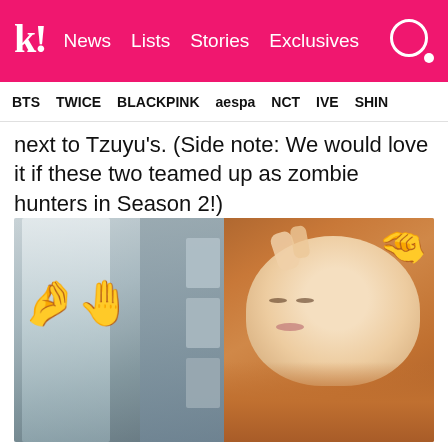k! News Lists Stories Exclusives
BTS TWICE BLACKPINK aespa NCT IVE SHINee
next to Tzuyu's. (Side note: We would love it if these two teamed up as zombie hunters in Season 2!)
[Figure (photo): Split image: left side shows a blurry door/wall with posters and a hand emoji sticker; right side shows a young woman with auburn hair making an OK hand gesture close to her eye, taking a selfie.]